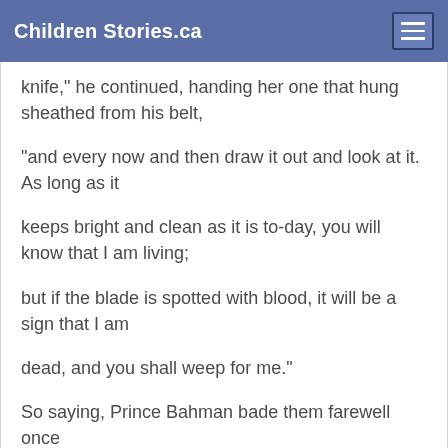Children Stories.ca
knife," he continued, handing her one that hung sheathed from his belt,
"and every now and then draw it out and look at it. As long as it
keeps bright and clean as it is to-day, you will know that I am living;
but if the blade is spotted with blood, it will be a sign that I am
dead, and you shall weep for me."
So saying, Prince Bahman bade them farewell once